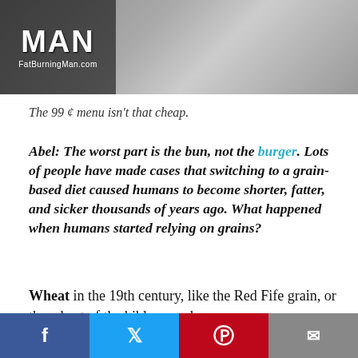[Figure (photo): Header image showing a person in medical/surgical mask, with FatBurningMan.com logo overlay on the left side]
The 99 ¢ menu isn't that cheap.
Abel: The worst part is the bun, not the burger. Lots of people have made cases that switching to a grain-based diet caused humans to become shorter, fatter, and sicker thousands of years ago. What happened when humans started relying on grains?
Wheat in the 19th century, like the Red Fife grain, or the wheat of the bible—modern
[Figure (infographic): Social sharing bar with Facebook, Twitter, Pinterest, and Email buttons]